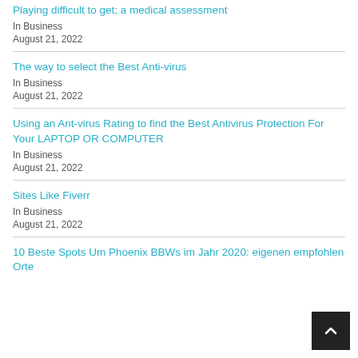Playing difficult to get; a medical assessment
In Business
August 21, 2022
The way to select the Best Anti-virus
In Business
August 21, 2022
Using an Ant-virus Rating to find the Best Antivirus Protection For Your LAPTOP OR COMPUTER
In Business
August 21, 2022
Sites Like Fiverr
In Business
August 21, 2022
10 Beste Spots Um Phoenix BBWs im Jahr 2020: eigenen empfohlen Orte